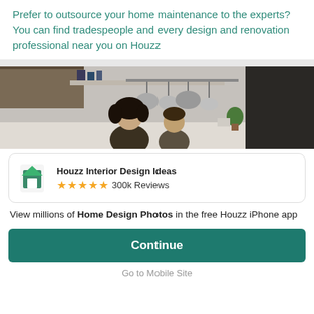Prefer to outsource your home maintenance to the experts? You can find tradespeople and every design and renovation professional near you on Houzz
[Figure (photo): Two people (a woman with curly hair and a child) in a kitchen with hanging pots and pans and shelving in the background]
Houzz Interior Design Ideas ★★★★★ 300k Reviews
View millions of Home Design Photos in the free Houzz iPhone app
Continue
Go to Mobile Site